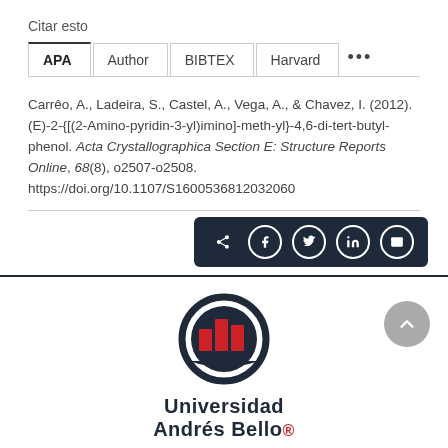Citar esto
APA | Author | BIBTEX | Harvard | ...
Carrêo, A., Ladeira, S., Castel, A., Vega, A., & Chavez, I. (2012). (E)-2-{[(2-Amino-pyridin-3-yl)imino]-meth-yl}-4,6-di-tert-butyl-phenol. Acta Crystallographica Section E: Structure Reports Online, 68(8), o2507-o2508. https://doi.org/10.1107/S1600536812032060
[Figure (logo): Universidad Andrés Bello logo with circular emblem containing red building icons on dark navy background]